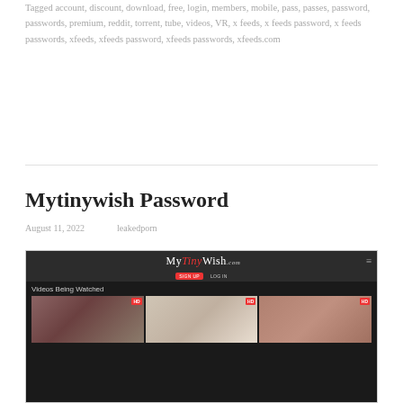Tagged account, discount, download, free, login, members, mobile, pass, passes, password, passwords, premium, reddit, torrent, tube, videos, VR, x feeds, x feeds password, x feeds passwords, xfeeds, xfeeds password, xfeeds passwords, xfeeds.com
Mytinywish Password
August 11, 2022    leakedporn
[Figure (screenshot): Screenshot of mytinywish.com website showing logo, sign up and log in buttons, 'Videos Being Watched' section with three HD video thumbnails]